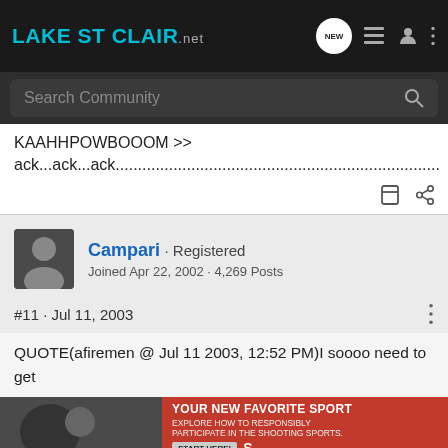LakeStClair.NET — navigation bar with search
KAAHHPOWBOOOM >>
ack...ack...ack......................................................................
Campari · Registered
Joined Apr 22, 2002 · 4,269 Posts
#11 · Jul 11, 2003
QUOTE(afiremen @ Jul 11 2003, 12:52 PM)I soooo need to get out and get drunk!
I like ho...
[Figure (screenshot): Advertisement overlay: YOUR NEW FAVORITE SPORT - EXPLORE HOW TO RESPONSIBLY PARTICIPATE IN THE SHOOTING SPORTS. START HERE!]